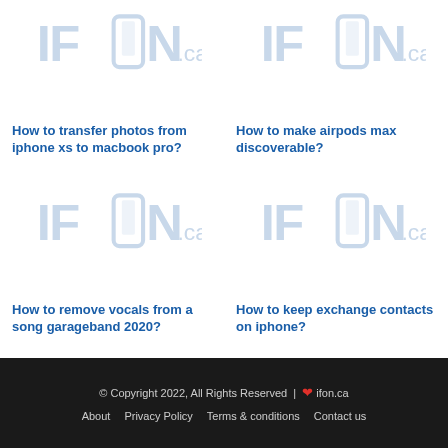[Figure (logo): IFUN.ca logo - top left]
[Figure (logo): IFUN.ca logo - top right]
How to transfer photos from iphone xs to macbook pro?
How to make airpods max discoverable?
[Figure (logo): IFUN.ca logo - middle left]
[Figure (logo): IFUN.ca logo - middle right]
How to remove vocals from a song garageband 2020?
How to keep exchange contacts on iphone?
© Copyright 2022, All Rights Reserved | ❤ ifon.ca
About   Privacy Policy   Terms & conditions   Contact us